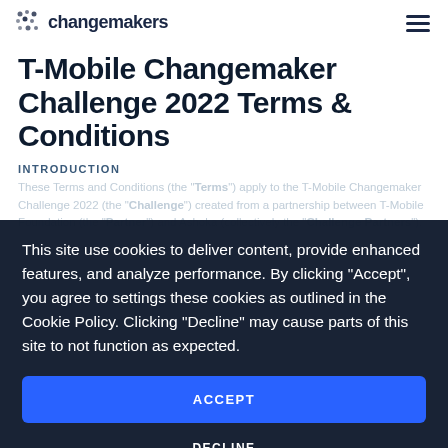changemakers
T-Mobile Changemaker Challenge 2022 Terms & Conditions
INTRODUCTION
These Terms and Conditions (the "Terms") apply to the T-Mobile Changemaker Challenge 2022 (the "Challenge") created from a partnership between T-Mobile Foundation (the "Partner") and Ashoka (collectively the "Challenge Partners").
This site use cookies to deliver content, provide enhanced features, and analyze performance. By clicking "Accept", you agree to settings these cookies as outlined in the Cookie Policy. Clicking "Decline" may cause parts of this site to not function as expected.